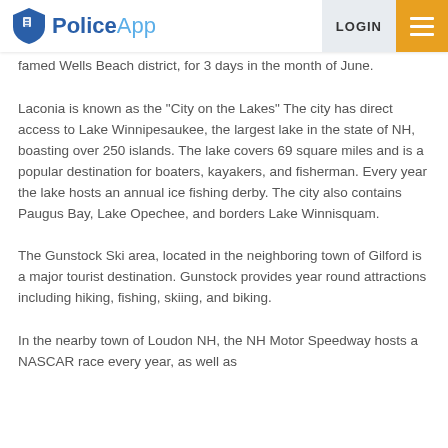PoliceApp — LOGIN
famed Wells Beach district, for 3 days in the month of June.
Laconia is known as the “City on the Lakes” The city has direct access to Lake Winnipesaukee, the largest lake in the state of NH, boasting over 250 islands. The lake covers 69 square miles and is a popular destination for boaters, kayakers, and fisherman. Every year the lake hosts an annual ice fishing derby. The city also contains Paugus Bay, Lake Opechee, and borders Lake Winnisquam.
The Gunstock Ski area, located in the neighboring town of Gilford is a major tourist destination. Gunstock provides year round attractions including hiking, fishing, skiing, and biking.
In the nearby town of Loudon NH, the NH Motor Speedway hosts a NASCAR race every year, as well as